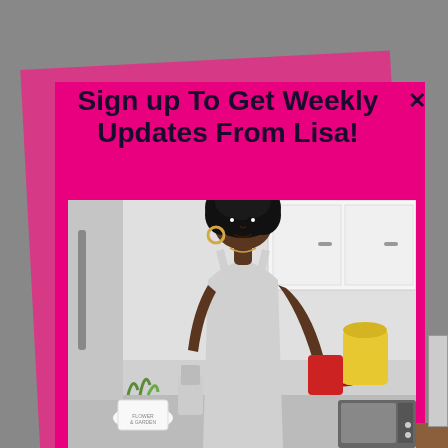Sign up To Get Weekly Updates From Lisa!
[Figure (photo): Black and white photo of a woman with natural curly hair wearing a light gray tank top, holding a red mug with a yellow lid visible behind her, standing in a kitchen with white cabinets and a small potted plant labeled 'FLOWER & GARDEN'.]